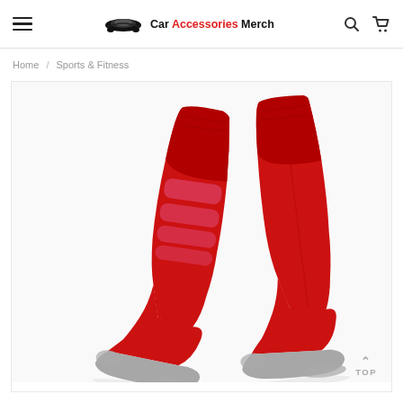Car Accessories Merch
Home / Sports & Fitness
[Figure (photo): Two red knee-high sports/compression socks shown from front/back angle with grey grip sole, displayed on white background.]